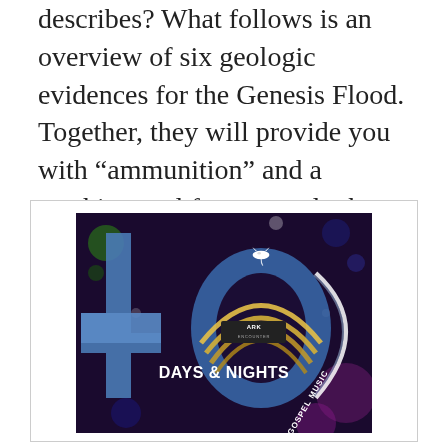describes? What follows is an overview of six geologic evidences for the Genesis Flood. Together, they will provide you with “ammunition” and a teaching tool for you and others.
[Figure (illustration): Promotional graphic for '40 Days & Nights of Gospel Music' at Ark Encounter. Features a large blue number 40, a white dove, golden rainbow arcs, the Ark Encounter logo, and text 'DAYS & NIGHTS OF GOSPEL MUSIC' on a dark bokeh background with colorful lights.]